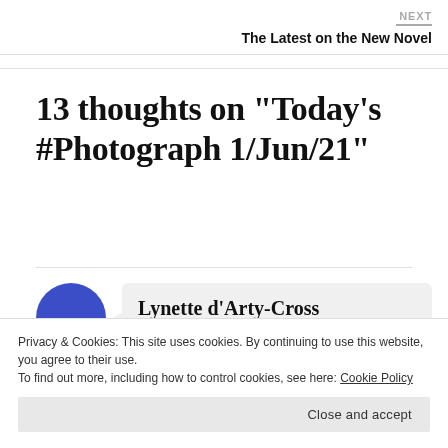NEXT
The Latest on the New Novel
13 thoughts on “Today’s #Photograph 1/Jun/21”
Lynette d'Arty-Cross
Privacy & Cookies: This site uses cookies. By continuing to use this website, you agree to their use.
To find out more, including how to control cookies, see here: Cookie Policy
Close and accept